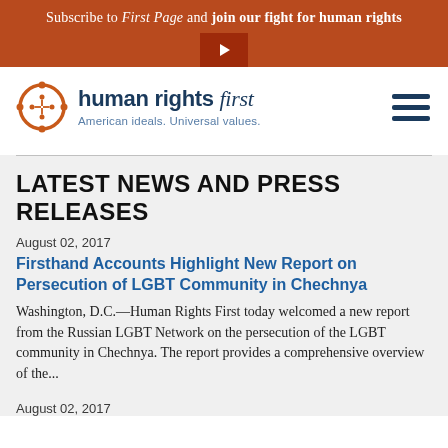Subscribe to First Page and join our fight for human rights
[Figure (logo): Human Rights First logo: circular orange icon with people figures and text 'human rights first' with tagline 'American ideals. Universal values.']
LATEST NEWS AND PRESS RELEASES
August 02, 2017
Firsthand Accounts Highlight New Report on Persecution of LGBT Community in Chechnya
Washington, D.C.—Human Rights First today welcomed a new report from the Russian LGBT Network on the persecution of the LGBT community in Chechnya. The report provides a comprehensive overview of the...
August 02, 2017